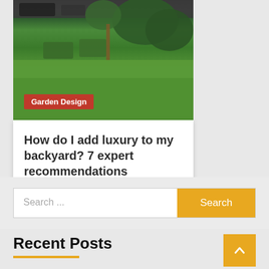[Figure (photo): Garden with green lawn, trimmed hedges, and outdoor furniture with trees in background]
Garden Design
How do I add luxury to my backyard? 7 expert recommendations
4 weeks ago  Betts
Search ...
Recent Posts